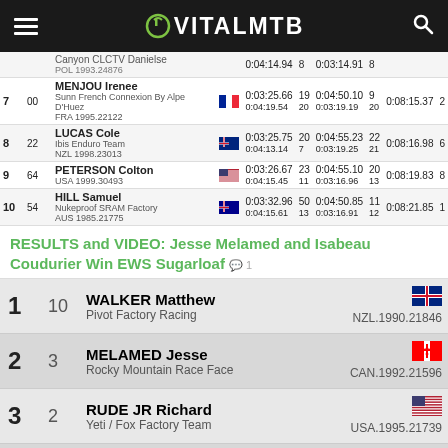VITALMTB
| Pos | Bib | Name | Flag | Time1 | Rank1 | Time2 | Rank2 | Total | Rank3 |
| --- | --- | --- | --- | --- | --- | --- | --- | --- | --- |
|  |  | Canyon CLCTV Danielse | POL 1993.24876 | 0:04:14.94 | 8 | 0:03:14.91 | 8 |  |  |
| 7 | 00 | MENJOU Irenee | FRA | 0:03:25.66 | 19 | 0:04:50.10 | 9 | 0:08:15.37 | 2 |
|  |  | Sunn French Connexion By Alpe D'Huez | FRA 1995.22122 | 0:04:19.54 | 20 | 0:03:19.19 | 20 |  |  |
| 8 | 22 | LUCAS Cole | NZL | 0:03:25.75 | 20 | 0:04:55.23 | 22 | 0:08:16.98 | 6 |
|  |  | Ibis Enduro Team | NZL 1998.23013 | 0:04:13.14 | 7 | 0:03:19.25 | 21 |  |  |
| 9 | 64 | PETERSON Colton | USA | 0:03:26.67 | 23 | 0:04:55.10 | 20 | 0:08:19.83 | 8 |
|  |  |  | USA 1999.30493 | 0:04:15.45 | 11 | 0:03:16.96 | 13 |  |  |
| 10 | 54 | HILL Samuel | AUS | 0:03:32.96 | 50 | 0:04:50.85 | 11 | 0:08:21.85 | 1 |
|  |  | Nukeproof SRAM Factory | AUS 1985.21775 | 0:04:15.61 | 13 | 0:03:16.91 | 12 |  |  |
RESULTS and VIDEO: Jesse Melamed and Isabeau Coudurier Win EWS Sugarloaf
| Pos | Bib | Name | Flag | Nat/ID |
| --- | --- | --- | --- | --- |
| 1 | 10 | WALKER Matthew | NZL flag | NZL.1990.21846 |
|  |  | Pivot Factory Racing |  |  |
| 2 | 3 | MELAMED Jesse | CAN flag | CAN.1992.21596 |
|  |  | Rocky Mountain Race Face |  |  |
| 3 | 2 | RUDE JR Richard | USA flag | USA.1995.21739 |
|  |  | Yeti / Fox Factory Team |  |  |
| 4 | 1 | MOIR Jack | AUS flag | AUS.1994.33430 |
|  |  | Canyon Collective |  |  |
| 5 | 13 | MAES Martin | BEL flag | BEL.1997.21636 |
|  |  | Orbea FOX Enduro Team |  |  |